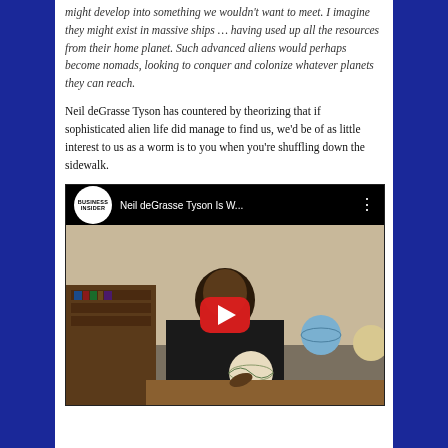might develop into something we wouldn't want to meet. I imagine they might exist in massive ships … having used up all the resources from their home planet. Such advanced aliens would perhaps become nomads, looking to conquer and colonize whatever planets they can reach.
Neil deGrasse Tyson has countered by theorizing that if sophisticated alien life did manage to find us, we'd be of as little interest to us as a worm is to you when you're shuffling down the sidewalk.
[Figure (screenshot): Embedded YouTube video thumbnail showing Neil deGrasse Tyson sitting at a desk with globes, titled 'Neil deGrasse Tyson Is W...' from Business Insider channel, with a red play button overlay.]